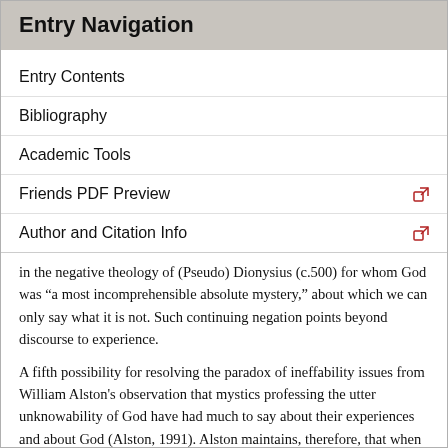Entry Navigation
Entry Contents
Bibliography
Academic Tools
Friends PDF Preview
Author and Citation Info
in the negative theology of (Pseudo) Dionysius (c.500) for whom God was “a most incomprehensible absolute mystery,” about which we can only say what it is not. Such continuing negation points beyond discourse to experience.
A fifth possibility for resolving the paradox of ineffability issues from William Alston's observation that mystics professing the utter unknowability of God have had much to say about their experiences and about God (Alston, 1991). Alston maintains, therefore, that when mystics talk about ‘indescribability’ they refer to the difficulty of